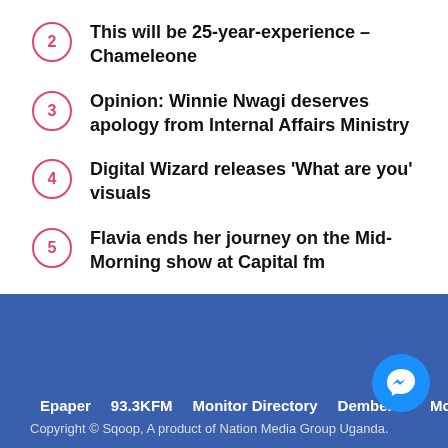2 This will be 25-year-experience – Chameleone
3 Opinion: Winnie Nwagi deserves apology from Internal Affairs Ministry
4 Digital Wizard releases 'What are you' visuals
5 Flavia ends her journey on the Mid-Morning show at Capital fm
Epaper  93.3KFM  Monitor Directory  DembeFm  Monit…  Copyright © Sqoop, A product of Nation Media Group Uganda.